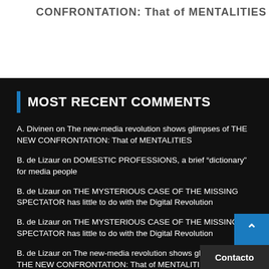CONFRONTATION: That of MENTALITIES
MOST RECENT COMMENTS
A. Divinen on The new-media revolution shows glimpses of THE NEW CONFRONTATION: That of MENTALITIES
B. de Lizaur on DOMESTIC PROFESSIONS, a brief “dictionary” for media people
B. de Lizaur on THE MYSTERIOUS CASE OF THE MISSING SPECTATOR has little to do with the Digital Revolution
B. de Lizaur on THE MYSTERIOUS CASE OF THE MISSING SPECTATOR has little to do with the Digital Revolution
B. de Lizaur on The new-media revolution shows glimpses of THE NEW CONFRONTATION: That of MENTALITIES
B. de Lizaur on The new-media revolution shows glimpses of THE NEW CONFRONTATION: That of ME...